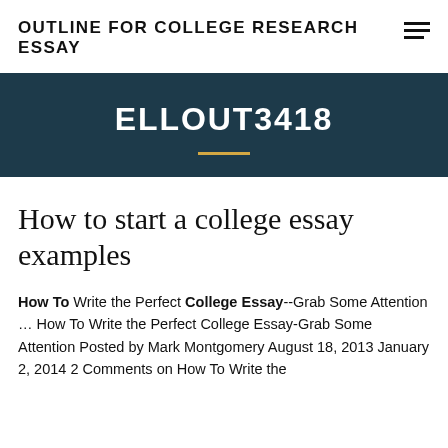OUTLINE FOR COLLEGE RESEARCH ESSAY
ELLOUT3418
How to start a college essay examples
How To Write the Perfect College Essay--Grab Some Attention … How To Write the Perfect College Essay-Grab Some Attention Posted by Mark Montgomery August 18, 2013 January 2, 2014 2 Comments on How To Write the